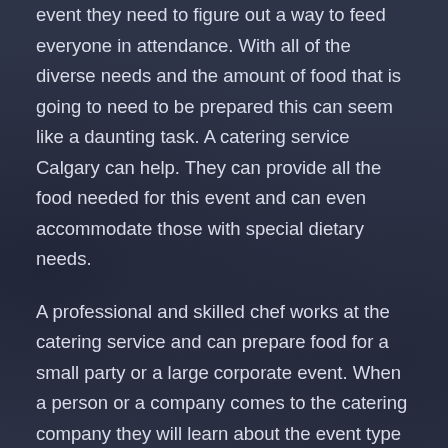event they need to figure out a way to feed everyone in attendance. With all of the diverse needs and the amount of food that is going to need to be prepared this can seem like a daunting task. A catering service Calgary can help. They can provide all the food needed for this event and can even accommodate those with special dietary needs.
A professional and skilled chef works at the catering service and can prepare food for a small party or a large corporate event. When a person or a company comes to the catering company they will learn about the event type and how many people need to be fed.
When a person is meeting with the catering company they can get a look at the different menu options that are offered. Most catering